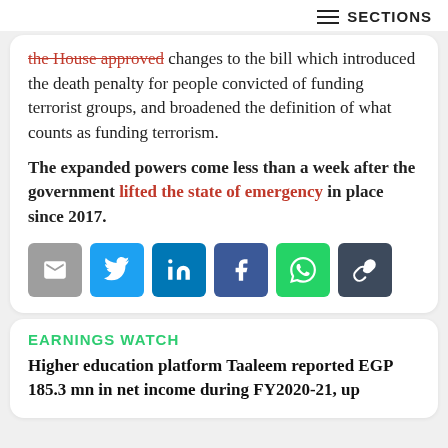SECTIONS
the House approved changes to the bill which introduced the death penalty for people convicted of funding terrorist groups, and broadened the definition of what counts as funding terrorism.
The expanded powers come less than a week after the government lifted the state of emergency in place since 2017.
[Figure (infographic): Social share buttons: email, Twitter, LinkedIn, Facebook, WhatsApp, copy link]
EARNINGS WATCH
Higher education platform Taaleem reported EGP 185.3 mn in net income during FY2020-21, up